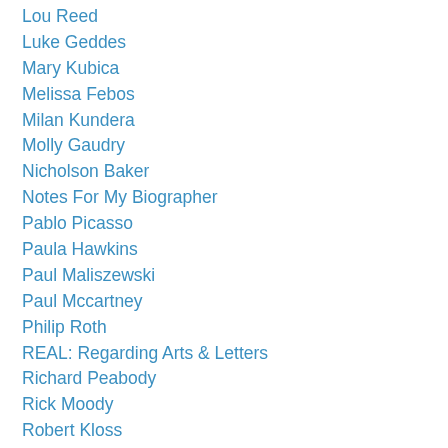Lou Reed
Luke Geddes
Mary Kubica
Melissa Febos
Milan Kundera
Molly Gaudry
Nicholson Baker
Notes For My Biographer
Pablo Picasso
Paula Hawkins
Paul Maliszewski
Paul Mccartney
Philip Roth
REAL: Regarding Arts & Letters
Richard Peabody
Rick Moody
Robert Kloss
Robert Smartwood
Roxane Gay
Shirley Hazzard
S.I. Watson